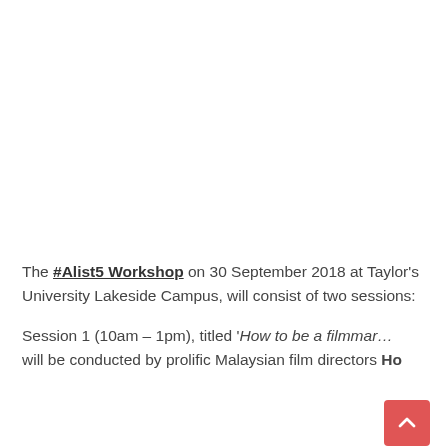[Figure (photo): Large white/blank image area at the top of the page, likely a photo placeholder or scrolled-off image.]
The #Alist5 Workshop on 30 September 2018 at Taylor's University Lakeside Campus, will consist of two sessions:
Session 1 (10am – 1pm), titled 'How to be a filmma… will be conducted by prolific Malaysian film directors Ho…